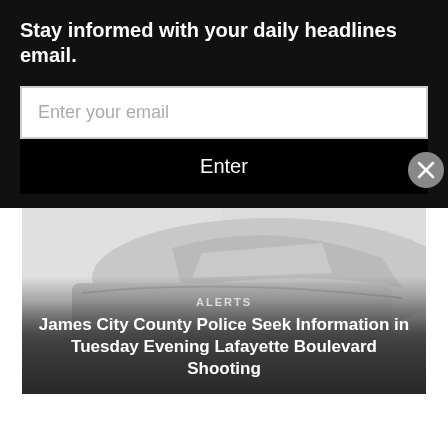Stay informed with your daily headlines email.
Enter your email
Enter
[Figure (photo): Grayscale photo of a police car, viewed from low angle showing the side and roof of the vehicle]
ALERTS
James City County Police Seek Information in Tuesday Evening Lafayette Boulevard Shooting